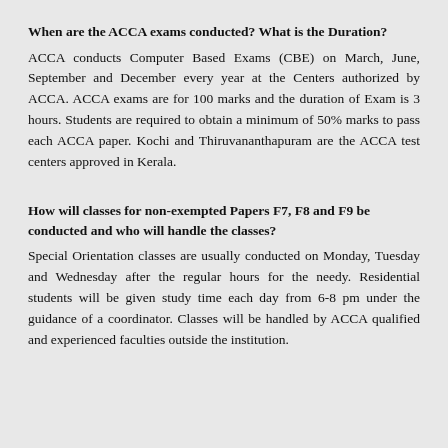When are the ACCA exams conducted? What is the Duration?
ACCA conducts Computer Based Exams (CBE) on March, June, September and December every year at the Centers authorized by ACCA. ACCA exams are for 100 marks and the duration of Exam is 3 hours. Students are required to obtain a minimum of 50% marks to pass each ACCA paper. Kochi and Thiruvananthapuram are the ACCA test centers approved in Kerala.
How will classes for non-exempted Papers F7, F8 and F9 be conducted and who will handle the classes?
Special Orientation classes are usually conducted on Monday, Tuesday and Wednesday after the regular hours for the needy. Residential students will be given study time each day from 6-8 pm under the guidance of a coordinator. Classes will be handled by ACCA qualified and experienced faculties outside the institution.